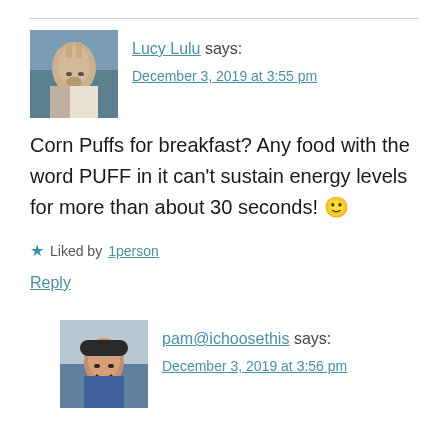Lucy Lulu says:
December 3, 2019 at 3:55 pm
Corn Puffs for breakfast? Any food with the word PUFF in it can't sustain energy levels for more than about 30 seconds! 🙂
Liked by 1person
Reply
pam@ichoosethis says:
December 3, 2019 at 3:56 pm